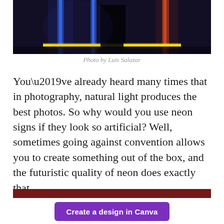[Figure (photo): Dark atmospheric photo of a person's silhouette standing between neon lights — vertical blue and orange/red neon strips with a yellow horizontal neon strip on the floor, dark background]
Photo by Luis Salazar
You’ve already heard many times that in photography, natural light produces the best photos. So why would you use neon signs if they look so artificial? Well, sometimes going against convention allows you to create something out of the box, and the futuristic quality of neon does exactly that.
[Figure (photo): Partially visible next image strip at bottom of page]
Create a design in Canva